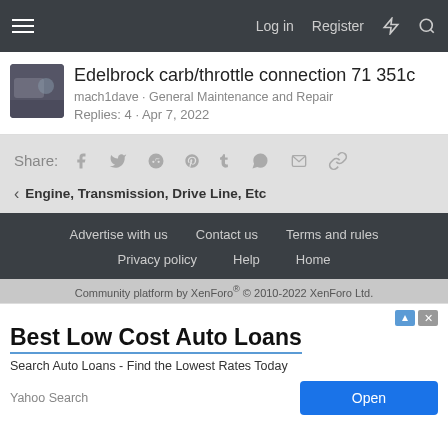Log in  Register
Edelbrock carb/throttle connection 71 351c
mach1dave · General Maintenance and Repair
Replies: 4 · Apr 7, 2022
Share:
Engine, Transmission, Drive Line, Etc
Advertise with us  Contact us  Terms and rules  Privacy policy  Help  Home
Community platform by XenForo® © 2010-2022 XenForo Ltd.
[Figure (screenshot): Advertisement banner: Best Low Cost Auto Loans - Search Auto Loans - Find the Lowest Rates Today - Yahoo Search - Open button]